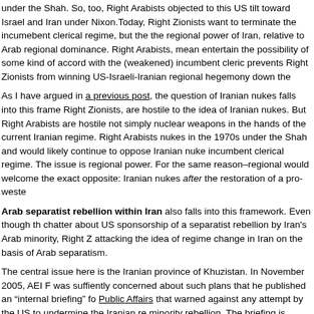under the Shah. So, too, Right Arabists objected to this US tilt toward Israel and Iran under Nixon. Today, Right Zionists want to terminate the incumebent clerical regime, but they support the regional power of Iran, relative to Arab regional dominance. Right Arabists, meanwhile, entertain the possibility of some kind of accord with the (weakened) incumbent clerical regime, that prevents Right Zionists from winning US-Israeli-Iranian regional hegemony down the road.
As I have argued in a previous post, the question of Iranian nukes falls into this framework. Both Right Zionists, are hostile to the idea of Iranian nukes. But Right Arabists are hostile to Iranian nukes, not simply nuclear weapons in the hands of the current Iranian regime. Right Arabists opposed Iranian nukes in the 1970s under the Shah and would likely continue to oppose Iranian nukes even without the incumbent clerical regime. The issue is regional power. For the same reason–regional power–they would welcome the exact opposite: Iranian nukes after the restoration of a pro-western regime.
Arab separatist rebellion within Iran also falls into this framework. Even though there is chatter about US sponsorship of a separatist rebellion by Iran's Arab minority, Right Zionists are attacking the idea of regime change in Iran on the basis of Arab separatism.
The central issue here is the Iranian province of Khuzistan. In November 2005, AEI Fellow was suffiently concerned about such plans that he published an "internal briefing" for Council on Public Affairs that warned against any attempt by the US to undermine the Iranian regime through minority rebellion. The briefing is entitled "Domestic Threats to Iranian Stability: Khuz